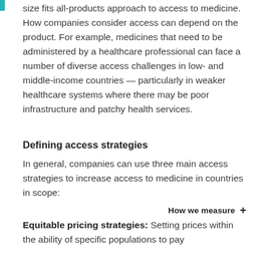size fits all-products approach to access to medicine. How companies consider access can depend on the product. For example, medicines that need to be administered by a healthcare professional can face a number of diverse access challenges in low- and middle-income countries — particularly in weaker healthcare systems where there may be poor infrastructure and patchy health services.
Defining access strategies
In general, companies can use three main access strategies to increase access to medicine in countries in scope:
How we measure +
Equitable pricing strategies: Setting prices within the ability of specific populations to pay